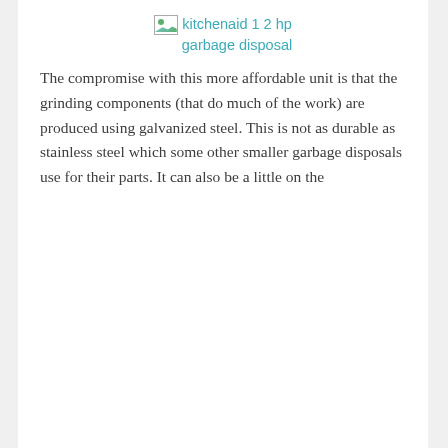[Figure (photo): Broken image placeholder for kitchenaid 1 2 hp garbage disposal]
The compromise with this more affordable unit is that the grinding components (that do much of the work) are produced using galvanized steel. This is not as durable as stainless steel which some other smaller garbage disposals use for their parts. It can also be a little on the